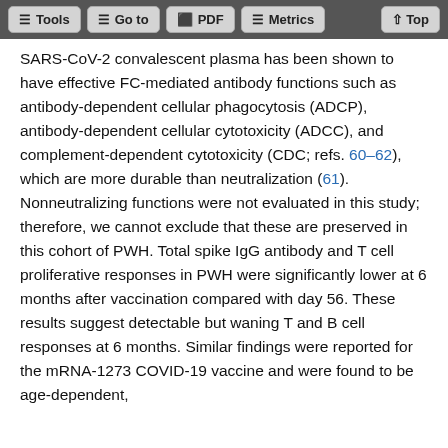Tools | Go to | PDF | Metrics | Top
SARS-CoV-2 convalescent plasma has been shown to have effective FC-mediated antibody functions such as antibody-dependent cellular phagocytosis (ADCP), antibody-dependent cellular cytotoxicity (ADCC), and complement-dependent cytotoxicity (CDC; refs. 60–62), which are more durable than neutralization (61). Nonneutralizing functions were not evaluated in this study; therefore, we cannot exclude that these are preserved in this cohort of PWH. Total spike IgG antibody and T cell proliferative responses in PWH were significantly lower at 6 months after vaccination compared with day 56. These results suggest detectable but waning T and B cell responses at 6 months. Similar findings were reported for the mRNA-1273 COVID-19 vaccine and were found to be age-dependent, contributing more contributions for...